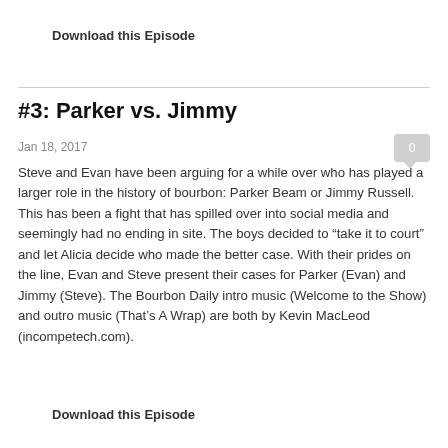Download this Episode
#3: Parker vs. Jimmy
Jan 18, 2017
Steve and Evan have been arguing for a while over who has played a larger role in the history of bourbon: Parker Beam or Jimmy Russell. This has been a fight that has spilled over into social media and seemingly had no ending in site. The boys decided to “take it to court” and let Alicia decide who made the better case. With their prides on the line, Evan and Steve present their cases for Parker (Evan) and Jimmy (Steve). The Bourbon Daily intro music (Welcome to the Show) and outro music (That’s A Wrap) are both by Kevin MacLeod (incompetech.com).
Download this Episode